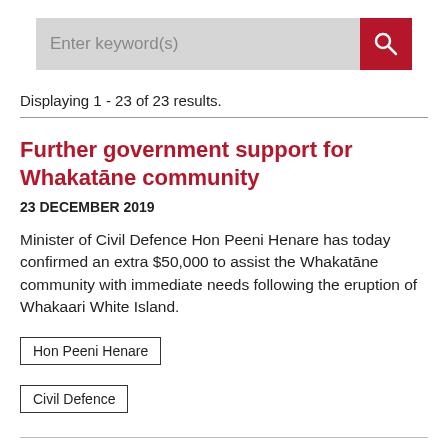[Figure (other): Search bar with text input field showing placeholder 'Enter keyword(s)' and a red search button with magnifying glass icon]
Displaying 1 - 23 of 23 results.
Further government support for Whakatāne community
23 DECEMBER 2019
Minister of Civil Defence Hon Peeni Henare has today confirmed an extra $50,000 to assist the Whakatāne community with immediate needs following the eruption of Whakaari White Island.
Hon Peeni Henare
Civil Defence